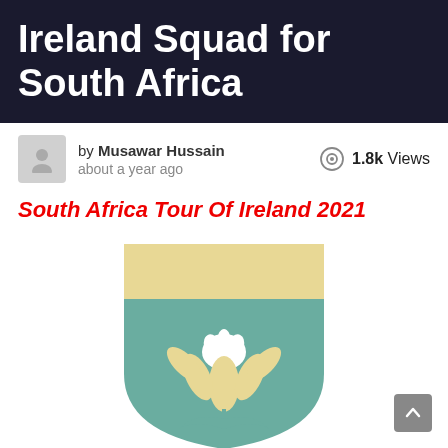Ireland Squad for South Africa
by Musawar Hussain
about a year ago
1.8k Views
South Africa Tour Of Ireland 2021
[Figure (logo): South Africa cricket team shield logo with protea flower and springbok motif in teal and gold/cream colors]